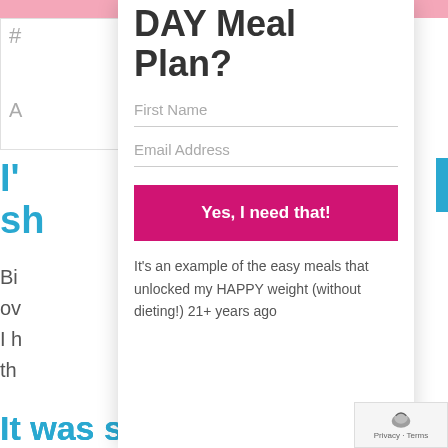DAY Meal Plan?
First Name
Email Address
Yes, I need that!
It's an example of the easy meals that unlocked my HAPPY weight (without dieting!) 21+ years ago
It was such a good